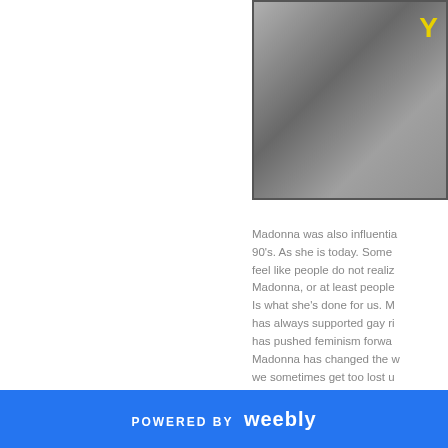[Figure (photo): Black and white photo with a yellow 'Y' letter visible in the top right corner]
Madonna was also influential in the 90's. As she is today. Sometimes I feel like people do not realize what Madonna, or at least people forget Is what she's done for us. Madonna has always supported gay ri... has pushed feminism forwa... Madonna has changed the w... we sometimes get too lost u... controversy to realize that. N... once in the nineties, Madon... opened up the conversation... public. Her hit song “Deeper... Deeper” is about a boy who... terms with his homosexualit...
POWERED BY weebly